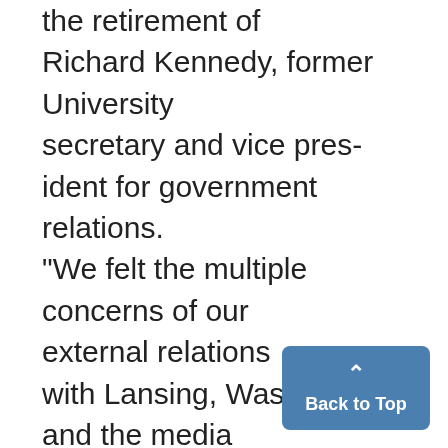the retirement of Richard Kennedy, former University secretary and vice president for government relations. "We felt the multiple concerns of our external relations with Lansing, Washington and the media tended to overload the position of the secretary," Duderstadt said. "As the state and federal activities became more complex, (Kennedy) felt a bit of an overload." Although Harrison's responsibi